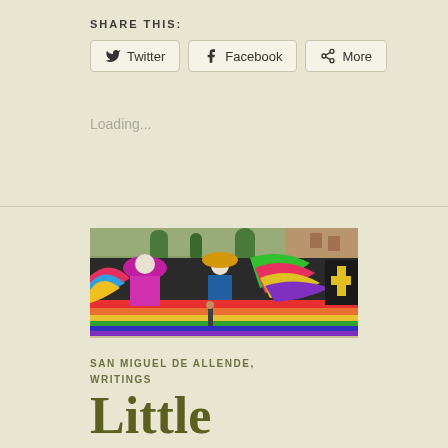SHARE THIS:
Twitter | Facebook | More
Loading...
[Figure (photo): A colorful street mural in San Miguel de Allende featuring mariachi skeleton figures and vibrant rainbow patterns on a long wall, with trees and buildings visible above.]
SAN MIGUEL DE ALLENDE, WRITINGS
Little